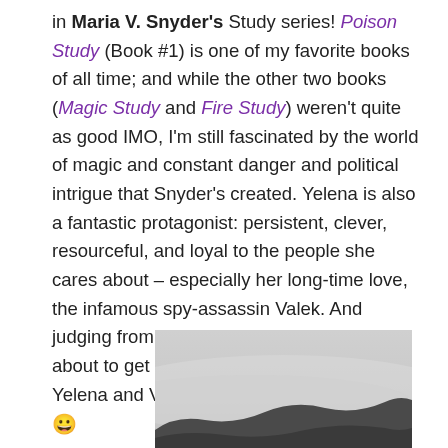in Maria V. Snyder's Study series! Poison Study (Book #1) is one of my favorite books of all time; and while the other two books (Magic Study and Fire Study) weren't quite as good IMO, I'm still fascinated by the world of magic and constant danger and political intrigue that Snyder's created. Yelena is also a fantastic protagonist: persistent, clever, resourceful, and loyal to the people she cares about – especially her long-time love, the infamous spy-assassin Valek. And judging from the blurb below, things are about to get interesting once again for both Yelena and Valek. 😀
[Figure (photo): A grayscale/foggy landscape photo, partially visible, showing a misty grey sky with dark silhouettes of terrain or mountains at the bottom edge.]